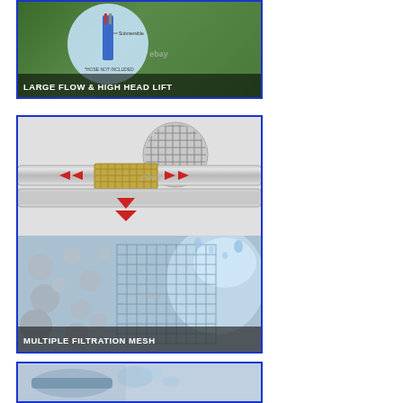[Figure (photo): Product feature image showing a submersible pump with outdoor/grass background and a circular inset diagram. Banner text reads 'LARGE FLOW & HIGH HEAD LIFT'. Also contains '*HOSE NOT INCLUDED' label and eBay watermark.]
[Figure (photo): Product feature image split into two panels: top panel shows a cross-section technical diagram of a pump filter mesh component with red arrows indicating expansion; bottom panel shows water filtration concept with bubbles and mesh grid. Banner text reads 'MULTIPLE FILTRATION MESH'. Contains eBay watermark.]
[Figure (photo): Partially visible product image at bottom of page showing a pump component with water splashing effect.]